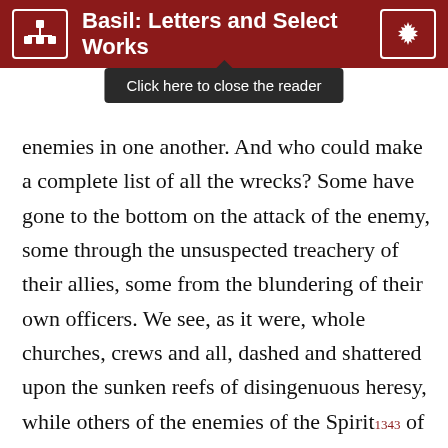Basil: Letters and Select Works
enemies in one another.  And who could make a complete list of all the wrecks?  Some have gone to the bottom on the attack of the enemy, some through the unsuspected treachery of their allies, some from the blundering of their own officers.  We see, as it were, whole churches, crews and all, dashed and shattered upon the sunken reefs of disingenuous heresy, while others of the enemies of the Spirit₁₃₄₃ of Salvation have seized the helm and made shipwreck of the faith.₁₃₄₄  And then the disturbances wrought by the princes of the world₁₃₄₅ have caused the downfall of the people